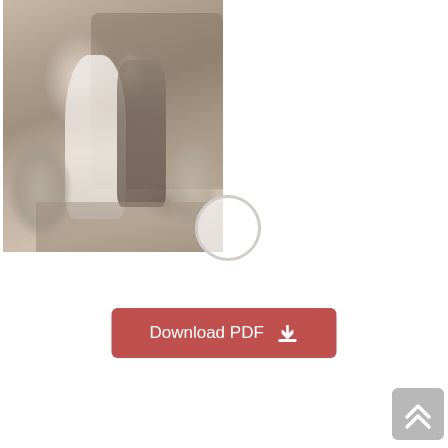[Figure (photo): Vintage sepia-toned wedding photograph showing a bride in a long white dress and veil and a groom in dark suit standing on steps at an entrance decorated with flowers]
Download PDF